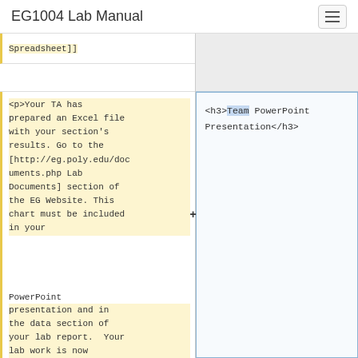EG1004 Lab Manual
Spreadsheet]]
<p>Your TA has prepared an Excel file with your section's results. Go to the [http://eg.poly.edu/documents.php Lab Documents] section of the EG Website. This chart must be included in your
<h3>Team PowerPoint Presentation</h3>
PowerPoint presentation and in the data section of your lab report.  Your lab work is now complete.  Please